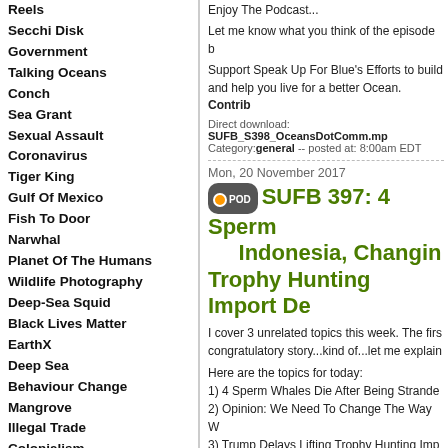Reels
Secchi Disk
Government
Talking Oceans
Conch
Sea Grant
Sexual Assault
Coronavirus
Tiger King
Gulf Of Mexico
Fish To Door
Narwhal
Planet Of The Humans
Wildlife Photography
Deep-Sea Squid
Black Lives Matter
EarthX
Deep Sea
Behaviour Change
Mangrove
Illegal Trade
Colonialism
Mangoves
Shark Week 2020
Shark Science
Racism
Deep-Sea
Anthropause
Tagging
Sea Change Health
Marine Planning
Pinnipeds
Antarctic
Enjoy The Podcast...
Let me know what you think of the episode b
Support Speak Up For Blue's Efforts to build and help you live for a better Ocean. Contrib
Direct download: SUFB_S398_OceansDotComm.mp
Category: general -- posted at: 8:00am EDT
Mon, 20 November 2017
SUFB 397: 4 Sperm Indonesia, Changin Trophy Hunting Import De
I cover 3 unrelated topics this week. The firs congratulatory story...kind of...let me explain
Here are the topics for today:
1) 4 Sperm Whales Die After Being Strande
2) Opinion: We Need To Change The Way W
3) Trump Delays Lifting Trophy Hunting Imp
Enjoy The Podcast!!!
Let me know what you think of the episode b
Support Speak Up For Blue's Efforts to build and help you live for a better Ocean. Contrib
Direct download: SUFB_S397_4SpermWhalesDieDu
Category: Sperm Whale -- posted at: 8:00am EDT